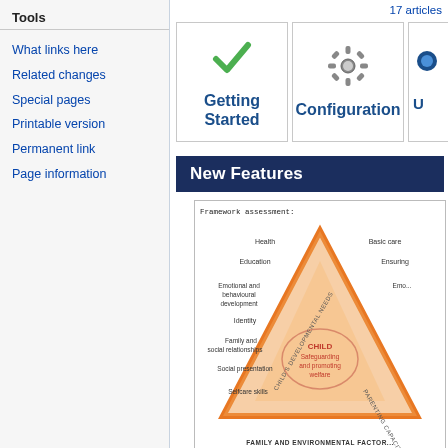Tools
What links here
Related changes
Special pages
Printable version
Permanent link
Page information
17 articles
[Figure (screenshot): Getting Started card with green checkmark icon]
[Figure (screenshot): Configuration card with gear/cog icon]
[Figure (screenshot): Partially visible third card]
New Features
[Figure (infographic): Framework assessment triangle diagram showing Child's Developmental Needs, Parenting Capacity, and Family and Environmental Factors with CHILD Safeguarding and promoting welfare at center. Labels include Health, Basic care, Education, Ensuring, Emotional and behavioural development, Identity, Family and social relationships, Social presentation, Selfcare skills]